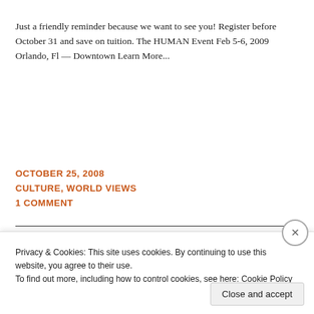Just a friendly reminder because we want to see you! Register before October 31 and save on tuition. The HUMAN Event Feb 5-6, 2009 Orlando, Fl — Downtown Learn More...
OCTOBER 25, 2008
CULTURE, WORLD VIEWS
1 COMMENT
Privacy & Cookies: This site uses cookies. By continuing to use this website, you agree to their use.
To find out more, including how to control cookies, see here: Cookie Policy
Close and accept